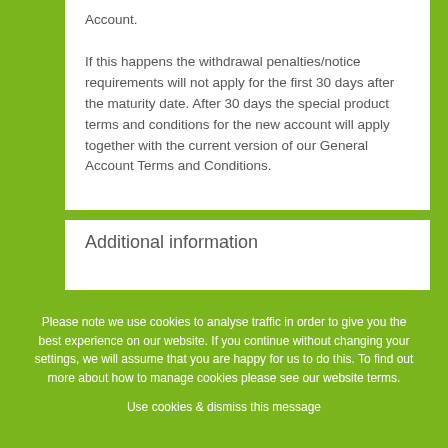Account. If this happens the withdrawal penalties/notice requirements will not apply for the first 30 days after the maturity date. After 30 days the special product terms and conditions for the new account will apply together with the current version of our General Account Terms and Conditions.
Additional information
Please note we use cookies to analyse traffic in order to give you the best experience on our website. If you continue without changing your settings, we will assume that you are happy for us to do this. To find out more about how to manage cookies please see our website terms.
Use cookies & dismiss this message